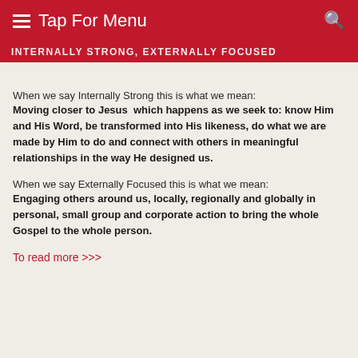≡ Tap For Menu
INTERNALLY STRONG, EXTERNALLY FOCUSED
When we say Internally Strong this is what we mean: Moving closer to Jesus which happens as we seek to: know Him and His Word, be transformed into His likeness, do what we are made by Him to do and connect with others in meaningful relationships in the way He designed us.
When we say Externally Focused this is what we mean: Engaging others around us, locally, regionally and globally in personal, small group and corporate action to bring the whole Gospel to the whole person.
To read more >>>